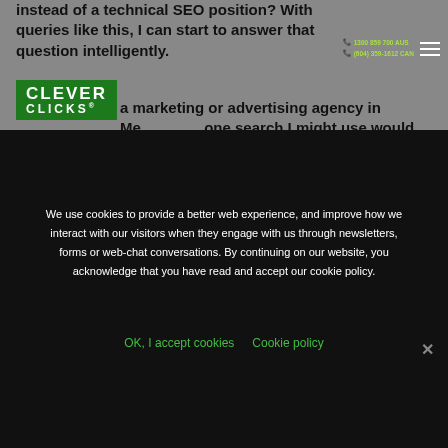instead of a technical SEO position? With queries like this, I can start to answer that question intelligently.
[Figure (logo): Clever Clicks logo - white text on green background]
Let's say I'm looking for a marketing or advertising agency in Melbourne. One search I might use would be: job "marketing" near:Melbourne
We use cookies to provide a better web experience, and improve how we interact with our visitors when they engage with us through newsletters, forms or web-chat conversations. By continuing on our website, you acknowledge that you have read and accept our cookie policy.
OK, I accept cookies   Cookie policy